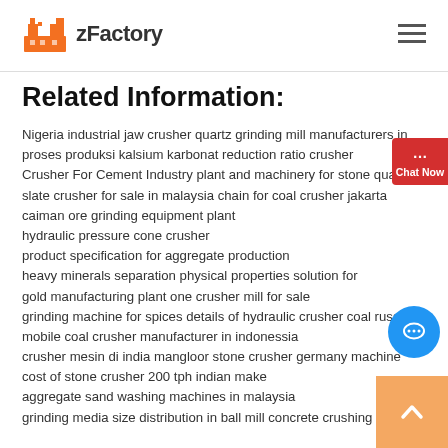zFactory
Related Information:
Nigeria industrial jaw crusher quartz grinding mill manufacturers in
proses produksi kalsium karbonat reduction ratio crusher
Crusher For Cement Industry plant and machinery for stone quarry
slate crusher for sale in malaysia chain for coal crusher jakarta
caiman ore grinding equipment plant
hydraulic pressure cone crusher
product specification for aggregate production
heavy minerals separation physical properties solution for
gold manufacturing plant one crusher mill for sale
grinding machine for spices details of hydraulic crusher coal russian
mobile coal crusher manufacturer in indonessia
crusher mesin di india mangloor stone crusher germany machine
cost of stone crusher 200 tph indian make
aggregate sand washing machines in malaysia
grinding media size distribution in ball mill concrete crushing mineing